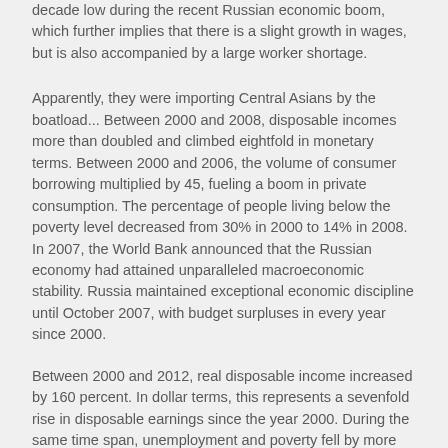decade low during the recent Russian economic boom, which further implies that there is a slight growth in wages, but is also accompanied by a large worker shortage.
Apparently, they were importing Central Asians by the boatload... Between 2000 and 2008, disposable incomes more than doubled and climbed eightfold in monetary terms. Between 2000 and 2006, the volume of consumer borrowing multiplied by 45, fueling a boom in private consumption. The percentage of people living below the poverty level decreased from 30% in 2000 to 14% in 2008. In 2007, the World Bank announced that the Russian economy had attained unparalleled macroeconomic stability. Russia maintained exceptional economic discipline until October 2007, with budget surpluses in every year since 2000.
Between 2000 and 2012, real disposable income increased by 160 percent. In dollar terms, this represents a sevenfold rise in disposable earnings since the year 2000. During the same time span, unemployment and poverty fell by more than half, while self-reported life satisfaction among Russians increased